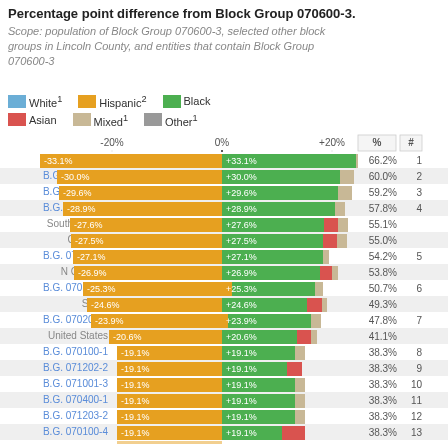Percentage point difference from Block Group 070600-3.
Scope: population of Block Group 070600-3, selected other block groups in Lincoln County, and entities that contain Block Group 070600-3
[Figure (grouped-bar-chart): Percentage point difference from Block Group 070600-3]